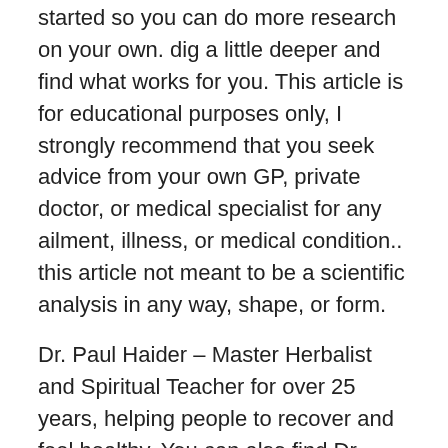started so you can do more research on your own. dig a little deeper and find what works for you. This article is for educational purposes only, I strongly recommend that you seek advice from your own GP, private doctor, or medical specialist for any ailment, illness, or medical condition.. this article not meant to be a scientific analysis in any way, shape, or form.
Dr. Paul Haider – Master Herbalist and Spiritual Teacher for over 25 years, helping people to recover and feel healthy. You can also find Dr. Haider on FB under Dr. Paul Haider, Healing Herbs, and at www.paulhaider.com – feel free to connect with him any time.
Here is a short video bio – http://www.youtube.com/watch?v=rK6Eg-xlX3U
Dr. Paul Haider, Master Herbalist, HH, USA, Health